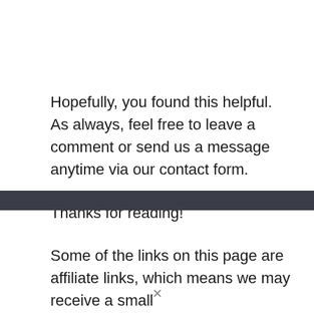Hopefully, you found this helpful. As always, feel free to leave a comment or send us a message anytime via our contact form.
Thanks for reading!
Some of the links on this page are affiliate links, which means we may receive a small